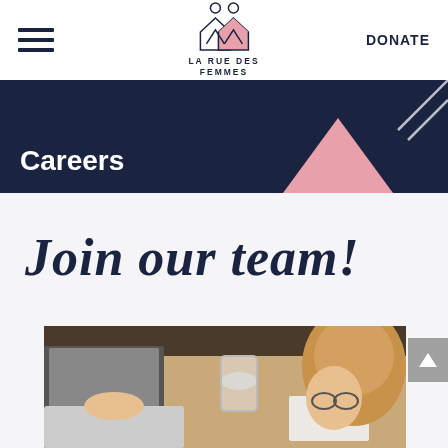[Figure (logo): La Rue Des Femmes logo — two circles above two overlapping house/chevron shapes, one outlined and one pink, with text LA RUE DES FEMMES below]
DONATE
Careers
Join our team!
[Figure (photo): Photo of people working at a table with laptops, a glass drink cup, and papers. A woman with long blonde hair and glasses is visible on the right side.]